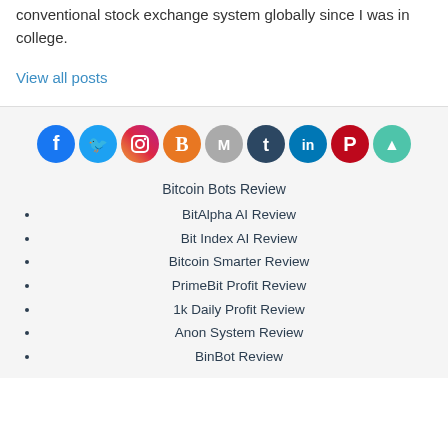conventional stock exchange system globally since I was in college.
View all posts
[Figure (infographic): Row of social media icons: Facebook, Twitter, Instagram, Blogger, Medium, Tumblr, LinkedIn, Pinterest, and a green/teal icon]
Bitcoin Bots Review
BitAlpha AI Review
Bit Index AI Review
Bitcoin Smarter Review
PrimeBit Profit Review
1k Daily Profit Review
Anon System Review
BinBot Review